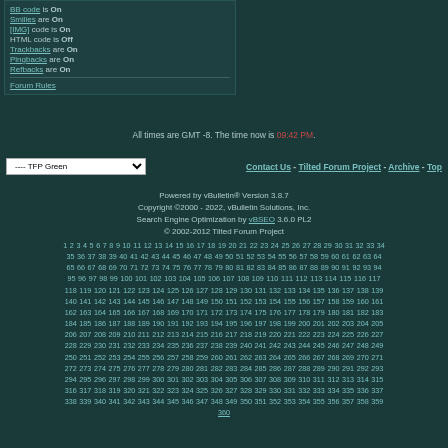BB code is On
Smilies are On
[IMG] code is On
HTML code is Off
Trackbacks are On
Pingbacks are On
Refbacks are On
Forum Rules
All times are GMT -8. The time now is 09:42 PM.
---- TFP Green
Contact Us - Tilted Forum Project - Archive - Top
Powered by vBulletin® Version 3.8.7
Copyright ©2000 - 2022, vBulletin Solutions, Inc.
Search Engine Optimization by vBSEO 3.6.0 PL2
© 2002-2012 Tilted Forum Project
1 2 3 4 5 6 7 8 9 10 11 12 13 14 15 16 17 18 19 20 21 22 23 24 25 26 27 28 29 30 31 32 33 34 35 36 37 38 39 40 41 42 43 44 45 46 47 48 49 50 51 52 53 54 55 56 57 58 59 60 61 62 63 64 65 66 67 68 69 70 71 72 73 74 75 76 77 78 79 80 81 82 83 84 85 86 87 88 89 90 91 92 93 94 95 96 97 98 99 100 101 102 103 104 105 106 107 108 109 110 111 112 113 114 115 116 117 118 119 120 121 122 123 124 125 126 127 128 129 130 131 132 133 134 135 136 137 138 139 140 141 142 143 144 145 146 147 148 149 150 151 152 153 154 155 156 157 158 159 160 161 162 163 164 165 166 167 168 169 170 171 172 173 174 175 176 177 178 179 180 181 182 183 184 185 186 187 188 189 190 191 192 193 194 195 196 197 198 199 200 201 202 203 204 205 206 207 208 209 210 211 212 213 214 215 216 217 218 219 220 221 222 223 224 225 226 227 228 229 230 231 232 233 234 235 236 237 238 239 240 241 242 243 244 245 246 247 248 249 250 251 252 253 254 255 256 257 258 259 260 261 262 263 264 265 266 267 268 269 270 271 272 273 274 275 276 277 278 279 280 281 282 283 284 285 286 287 288 289 290 291 292 293 294 295 296 297 298 299 300 301 302 303 304 305 306 307 308 309 310 311 312 313 314 315 316 317 318 319 320 321 322 323 324 325 326 327 328 329 330 331 332 333 334 335 336 337 338 339 340 341 342 343 344 345 346 347 348 349 350 351 352 353 354 355 356 357 358 359 360